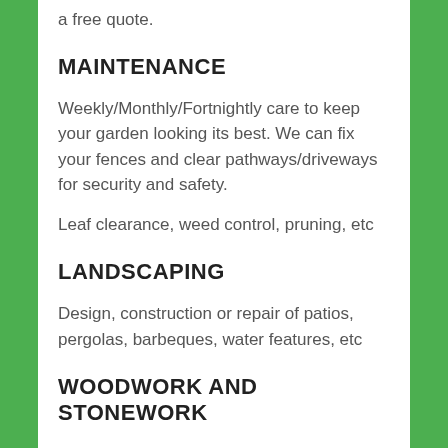a free quote.
MAINTENANCE
Weekly/Monthly/Fortnightly care to keep your garden looking its best. We can fix your fences and clear pathways/driveways for security and safety.
Leaf clearance, weed control, pruning, etc
LANDSCAPING
Design, construction or repair of patios, pergolas, barbeques, water features, etc
WOODWORK AND STONEWORK